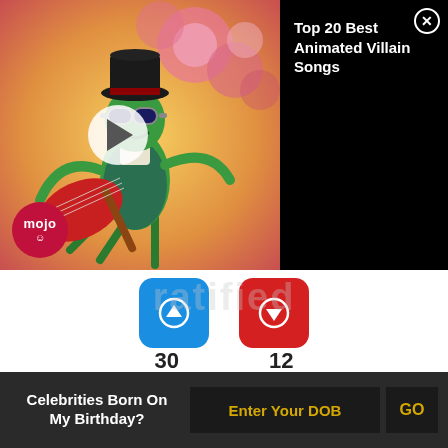[Figure (screenshot): Video thumbnail showing animated character (green villain with top hat and guitar) from WatchMojo Top 20 Best Animated Villain Songs, with play button overlay and Mojo logo]
Top 20 Best Animated Villain Songs
30   12
Birthdate: May 13, 1922
Sun Sign: Taurus
Died: April 25, 2009
American actress Bea Arthur worked extensively in television and was hailed for her comic timing. All in the Family, Maude and The Golden Girls are some of her acclaimed series. In her long career, she also
Celebrities Born On My Birthday? Enter Your DOB GO